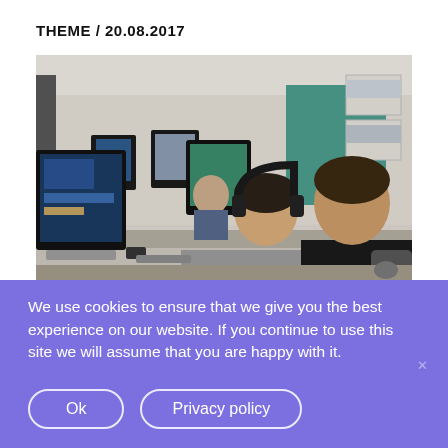THEME / 20.08.2017
[Figure (photo): Office scene with multiple people sitting at desktop computers in a modern workspace, working on screens. In the foreground, a person wearing headphones and a grey shirt is visible from the back, next to another person in a black shirt. Monitors, desks, and design drawings on the wall in the background.]
We use cookies to ensure that we give you the best experience on our website. If you continue to use this site we will assume that you are happy with it.
Ok
Privacy policy